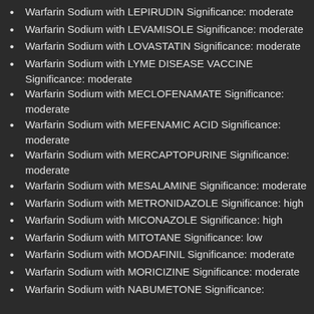Warfarin Sodium with LEPIRUDIN Significance: moderate
Warfarin Sodium with LEVAMISOLE Significance: moderate
Warfarin Sodium with LOVASTATIN Significance: moderate
Warfarin Sodium with LYME DISEASE VACCINE Significance: moderate
Warfarin Sodium with MECLOFENAMATE Significance: moderate
Warfarin Sodium with MEFENAMIC ACID Significance: moderate
Warfarin Sodium with MERCAPTOPURINE Significance: moderate
Warfarin Sodium with MESALAMINE Significance: moderate
Warfarin Sodium with METRONIDAZOLE Significance: high
Warfarin Sodium with MICONAZOLE Significance: high
Warfarin Sodium with MITOTANE Significance: low
Warfarin Sodium with MODAFINIL Significance: moderate
Warfarin Sodium with MORICIZINE Significance: moderate
Warfarin Sodium with NABUMETONE Significance: